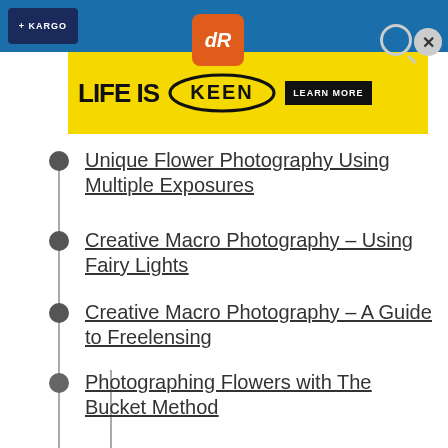[Figure (screenshot): Top navigation bar with KARGO logo, dR orange logo, search icon, and close button on blue background]
[Figure (screenshot): Advertisement banner: LIFE IS KEEN - LEARN MORE on yellow background]
Unique Flower Photography Using Multiple Exposures
Creative Macro Photography – Using Fairy Lights
Creative Macro Photography – A Guide to Freelensing
Photographing Flowers with The Bucket Method
POST-PROCESSING
How to Focus-Stack Macro Images using Photoshop